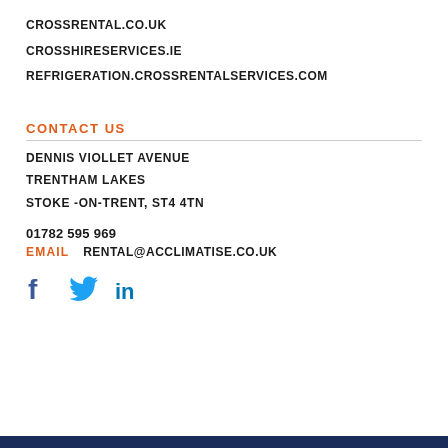CROSSRENTAL.CO.UK
CROSSHIRESERVICES.IE
REFRIGERATION.CROSSRENTALSERVICES.COM
CONTACT US
DENNIS VIOLLET AVENUE
TRENTHAM LAKES
STOKE -ON-TRENT, ST4 4TN
01782 595 969
EMAIL   RENTAL@ACCLIMATISE.CO.UK
[Figure (other): Social media icons: Facebook, Twitter, LinkedIn in blue]